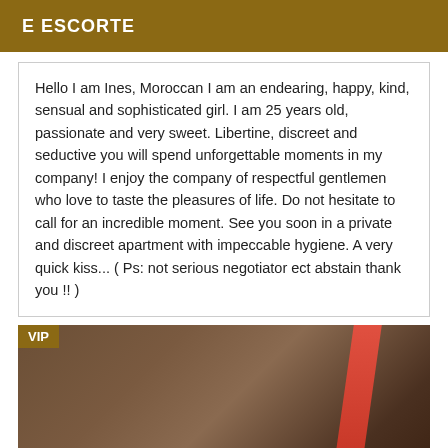E ESCORTE
Hello I am Ines, Moroccan I am an endearing, happy, kind, sensual and sophisticated girl. I am 25 years old, passionate and very sweet. Libertine, discreet and seductive you will spend unforgettable moments in my company! I enjoy the company of respectful gentlemen who love to taste the pleasures of life. Do not hesitate to call for an incredible moment. See you soon in a private and discreet apartment with impeccable hygiene. A very quick kiss... ( Ps: not serious negotiator ect abstain thank you !! )
[Figure (photo): Close-up photo of a person's skin/body with a red diagonal strap or band visible on the right side. A VIP badge appears in the top-left corner.]